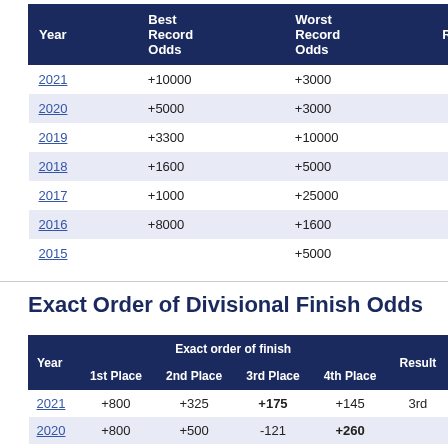| Year | Best Record Odds | Worst Record Odds | Result |
| --- | --- | --- | --- |
| 2021 | +10000 | +3000 |  |
| 2020 | +5000 | +3000 |  |
| 2019 | +3300 | +10000 |  |
| 2018 | +1600 | +5000 |  |
| 2017 | +1000 | +25000 |  |
| 2016 | +8000 | +1600 |  |
| 2015 |  | +5000 |  |
Exact Order of Divisional Finish Odds
| Year | Exact order of finish - 1st Place | Exact order of finish - 2nd Place | Exact order of finish - 3rd Place | Exact order of finish - 4th Place | Result |
| --- | --- | --- | --- | --- | --- |
| 2021 | +800 | +325 | +175 | +145 | 3rd |
| 2020 | +800 | +500 | -121 | +260 |  |
| 2019 | +320 | +185 | +200 | +423 | 2 |
| 2018 | +180 | +200 | +275 | +600 | 2nd |